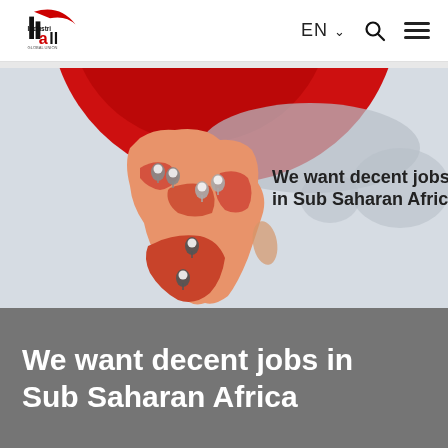IndustriALL Global Union — EN — Search — Menu
[Figure (map): Map of Africa highlighted in orange/red showing sub-Saharan African countries with location pin markers. Text overlay reads: 'We want decent jobs in Sub Saharan Africa'. Background shows a world map in grey with a large red circle/arc at the top.]
We want decent jobs in Sub Saharan Africa